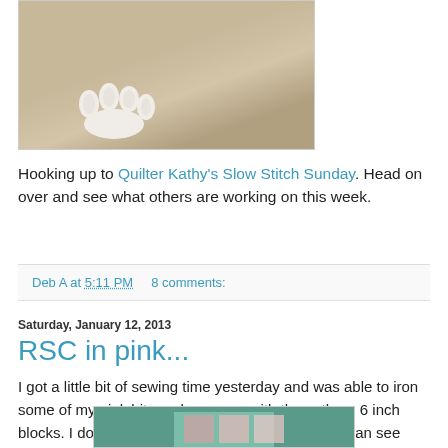[Figure (photo): Partial photo of a cat with white paws against a chevron-patterned fabric background, shown in a bordered frame]
Hooking up to Quilter Kathy's Slow Stitch Sunday. Head on over and see what others are working on this week.
Deb A at 5:11 PM   8 comments:
Saturday, January 12, 2013
RSC in pink...
I got a little bit of sewing time yesterday and was able to iron some of my pink bits and came up with these three 6 inch blocks. I don't have a plan for these right now but can see making some crumb blocks each month and then turning them into something in December.
[Figure (photo): Bottom portion of a photo showing quilting blocks on a green/teal cutting mat, partially visible at the bottom of the page]